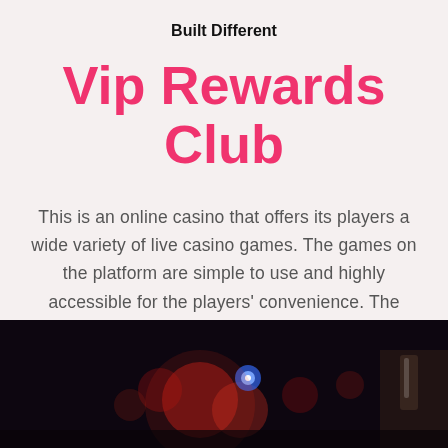Built Different
Vip Rewards Club
This is an online casino that offers its players a wide variety of live casino games. The games on the platform are simple to use and highly accessible for the players' convenience. The casino also offers a massive bonus to its players.
[Figure (photo): Dark atmospheric photo showing bokeh lights (blue and red/orange) with a hand holding a glass, suggestive of a casino/bar setting.]